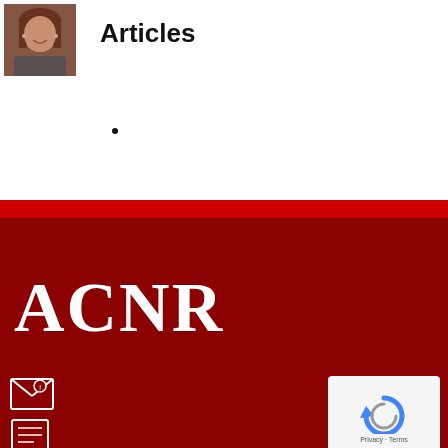[Figure (photo): Headshot photo of a woman with brown hair, smiling]
Articles
[Figure (logo): ACNR logo in white text on dark red background]
[Figure (other): Email icon in white on dark red background]
[Figure (other): List/document icon in white on dark red background]
[Figure (other): Google reCAPTCHA widget showing circular arrow icon with Privacy - Terms text]